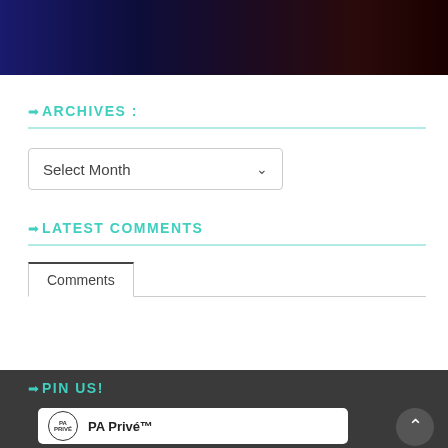[Figure (photo): Dark photo strip at top with blue and red lighting]
➡ ARCHIVES :
[Figure (other): Select Month dropdown widget]
➡ LATEST COMMENTS
Comments
➡ PIN US!
PA Privé™
[Figure (logo): PA Privé circular logo]